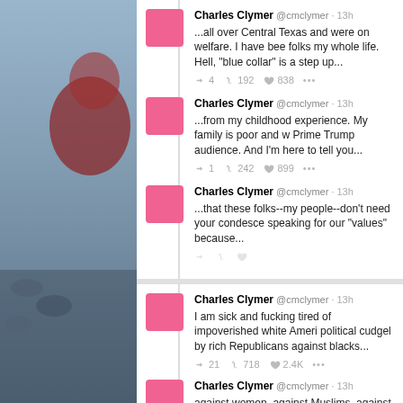[Figure (photo): Left side photo strip showing partial image of a person in red/dark clothing against a blue-grey background]
Charles Clymer @cmclymer · 13h
...all over Central Texas and were on welfare. I have bee folks my whole life. Hell, "blue collar" is a step up...
4  192  838
Charles Clymer @cmclymer · 13h
...from my childhood experience. My family is poor and w Prime Trump audience. And I'm here to tell you...
1  242  899
Charles Clymer @cmclymer · 13h
...that these folks--my people--don't need your condesce speaking for our "values" because...
Charles Clymer @cmclymer · 13h
I am sick and fucking tired of impoverished white Ameri political cudgel by rich Republicans against blacks...
21  718  2.4K
Charles Clymer @cmclymer · 13h
against women, against Muslims, against Jews and I...